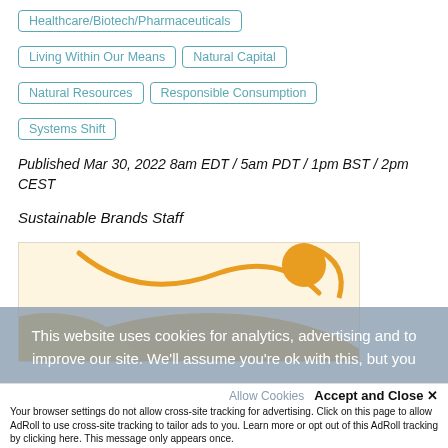Healthcare/Biotech/Pharmaceuticals
Living Within Our Means
Natural Capital
Natural Resources
Responsible Consumption
Systems Shift
Published Mar 30, 2022 8am EDT / 5am PDT / 1pm BST / 2pm CEST
Sustainable Brands Staff
[Figure (illustration): Decorative abstract illustration with orange/amber wave shapes and a circular sun-like form on a pale yellow background]
This website uses cookies for analytics, advertising and to improve our site. We'll assume you're ok with this, but you
Allow Cookies   Accept and Close ✕
Your browser settings do not allow cross-site tracking for advertising. Click on this page to allow AdRoll to use cross-site tracking to tailor ads to you. Learn more or opt out of this AdRoll tracking by clicking here. This message only appears once.